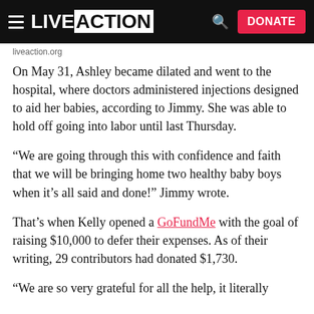LIVE ACTION — DONATE
On May 31, Ashley became dilated and went to the hospital, where doctors administered injections designed to aid her babies, according to Jimmy. She was able to hold off going into labor until last Thursday.
“We are going through this with confidence and faith that we will be bringing home two healthy baby boys when it’s all said and done!” Jimmy wrote.
That’s when Kelly opened a GoFundMe with the goal of raising $10,000 to defer their expenses. As of their writing, 29 contributors had donated $1,730.
“We are so very grateful for all the help, it literally